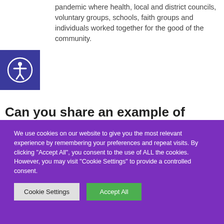pandemic where health, local and district councils, voluntary groups, schools, faith groups and individuals worked together for the good of the community.
[Figure (other): Accessibility icon button — circular figure with arms outstretched on dark blue square background]
Can you share an example of when you chose to challenge?
I cannot pick one challenge – so many come to mind and I admit, some of them got me into difficult situations. However, I would still do the same. If it felt right then, it will be right at another time, maybe with a more mature
We use cookies on our website to give you the most relevant experience by remembering your preferences and repeat visits. By clicking "Accept All", you consent to the use of ALL the cookies. However, you may visit "Cookie Settings" to provide a controlled consent.